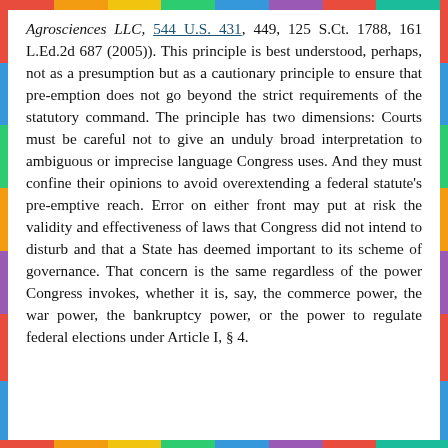Agrosciences LLC, 544 U.S. 431, 449, 125 S.Ct. 1788, 161 L.Ed.2d 687 (2005)). This principle is best understood, perhaps, not as a presumption but as a cautionary principle to ensure that pre-emption does not go beyond the strict requirements of the statutory command. The principle has two dimensions: Courts must be careful not to give an unduly broad interpretation to ambiguous or imprecise language Congress uses. And they must confine their opinions to avoid overextending a federal statute's pre-emptive reach. Error on either front may put at risk the validity and effectiveness of laws that Congress did not intend to disturb and that a State has deemed important to its scheme of governance. That concern is the same regardless of the power Congress invokes, whether it is, say, the commerce power, the war power, the bankruptcy power, or the power to regulate federal elections under Article I, § 4.